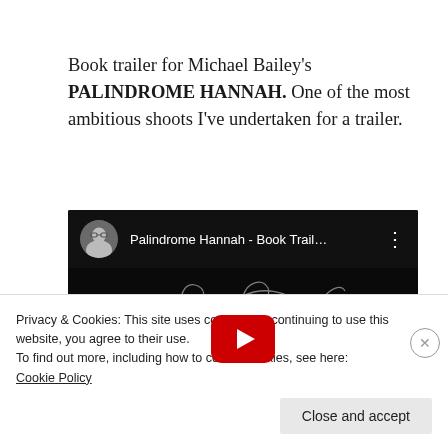Book trailer for Michael Bailey's PALINDROME HANNAH. One of the most ambitious shoots I've undertaken for a trailer.
[Figure (screenshot): YouTube video embed showing 'Palindrome Hannah - Book Trail...' with a dragon logo watermark on black background and a red play button]
Privacy & Cookies: This site uses cookies. By continuing to use this website, you agree to their use.
To find out more, including how to control cookies, see here: Cookie Policy